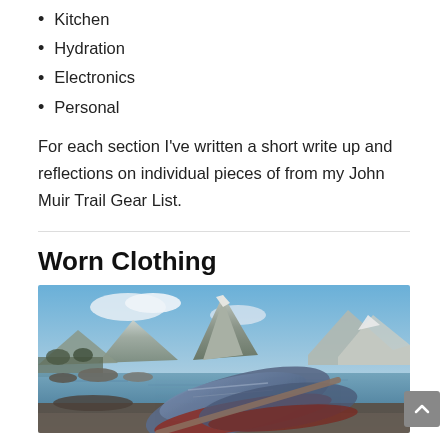Kitchen
Hydration
Electronics
Personal
For each section I've written a short write up and reflections on individual pieces of from my John Muir Trail Gear List.
Worn Clothing
[Figure (photo): Trail running shoes resting on rocks with a mountain lake and snow-capped peaks in the background under a blue sky.]